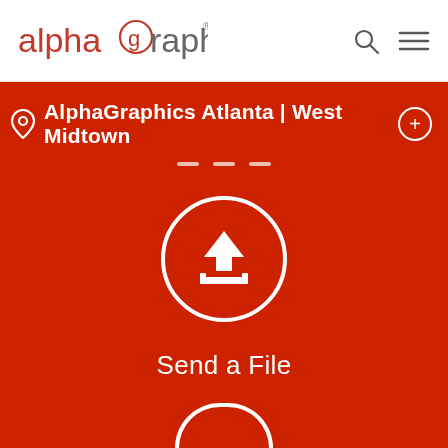[Figure (logo): AlphaGraphics logo with stylized 'g' in a circle, two-tone red and gray text]
[Figure (other): Search icon (magnifying glass) and hamburger menu icon in header]
AlphaGraphics Atlanta | West Midtown
[Figure (other): Upload/send file icon: upward arrow with tray, inside white circle, on red background]
Send a File
[Figure (other): Partial circle at bottom of page suggesting another icon below the fold]